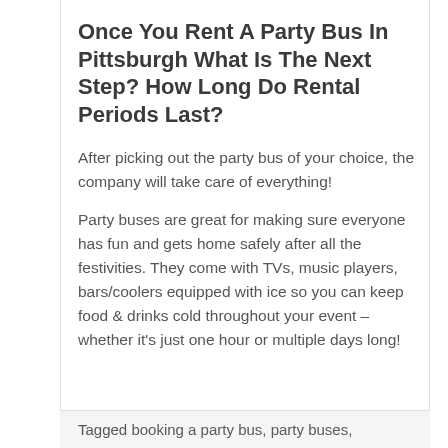Once You Rent A Party Bus In Pittsburgh What Is The Next Step? How Long Do Rental Periods Last?
After picking out the party bus of your choice, the company will take care of everything!
Party buses are great for making sure everyone has fun and gets home safely after all the festivities. They come with TVs, music players, bars/coolers equipped with ice so you can keep food & drinks cold throughout your event – whether it's just one hour or multiple days long!
Tagged booking a party bus, party buses,